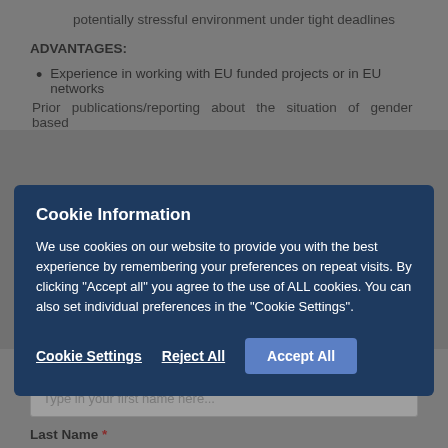potentially stressful environment under tight deadlines
ADVANTAGES:
Experience in working with EU funded projects or in EU networks
Prior publications/reporting about the situation of gender based
Cookie Information
We use cookies on our website to provide you with the best experience by remembering your preferences on repeat visits. By clicking "Accept all" you agree to the use of ALL cookies. You can also set individual preferences in the "Cookie Settings".
Cookie Settings   Reject All   Accept All
First Name *
Type in your first name here...
Last Name *